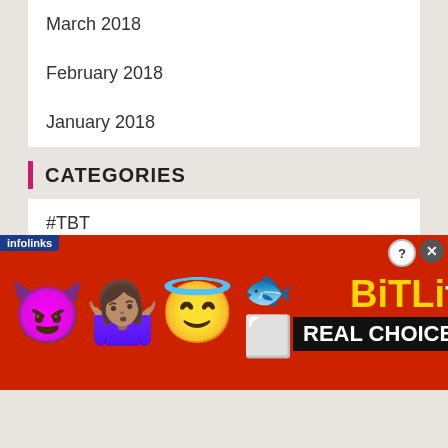March 2018
February 2018
January 2018
CATEGORIES
#TBT
40 by 40
Books
Celebrity
Celebrity Babies
[Figure (screenshot): Advertisement banner for BitLife game featuring devil emoji, person shrugging emoji, angel emoji, sperm emoji, BitLife logo in yellow, and 'REAL CHOICES' text on black background. Infolinks tag visible.]